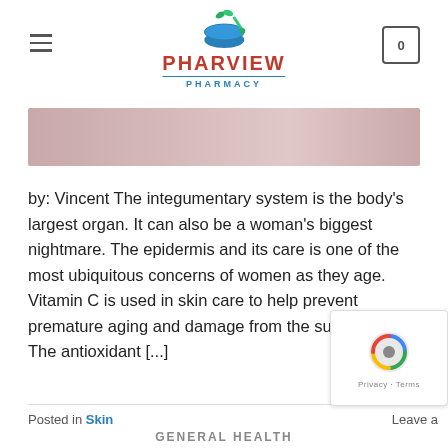PHARVIEW PHARMACY
[Figure (photo): Blurred pinkish-rose hero banner image]
by: Vincent The integumentary system is the body's largest organ. It can also be a woman's biggest nightmare. The epidermis and its care is one of the most ubiquitous concerns of women as they age. Vitamin C is used in skin care to help prevent premature aging and damage from the suns rays. The antioxidant [...]
CONTINUE READING →
Posted in Skin    Leave a
GENERAL HEALTH